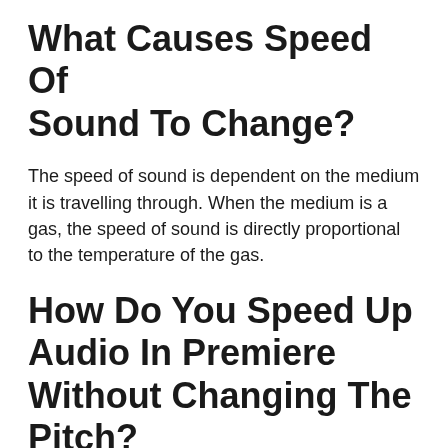What Causes Speed Of Sound To Change?
The speed of sound is dependent on the medium it is travelling through. When the medium is a gas, the speed of sound is directly proportional to the temperature of the gas.
How Do You Speed Up Audio In Premiere Without Changing The Pitch?
There are a few ways to speed up audio without changing the pitch in Premiere. One way is to use the Time Stretch effect, which will change the speed of the audio without changing the pitch.